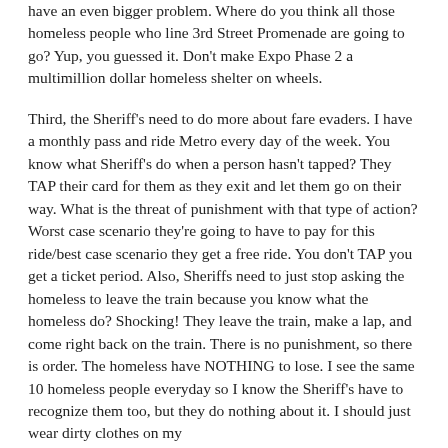have an even bigger problem. Where do you think all those homeless people who line 3rd Street Promenade are going to go? Yup, you guessed it. Don't make Expo Phase 2 a multimillion dollar homeless shelter on wheels.
Third, the Sheriff's need to do more about fare evaders. I have a monthly pass and ride Metro every day of the week. You know what Sheriff's do when a person hasn't tapped? They TAP their card for them as they exit and let them go on their way. What is the threat of punishment with that type of action? Worst case scenario they're going to have to pay for this ride/best case scenario they get a free ride. You don't TAP you get a ticket period. Also, Sheriffs need to just stop asking the homeless to leave the train because you know what the homeless do? Shocking! They leave the train, make a lap, and come right back on the train. There is no punishment, so there is order. The homeless have NOTHING to lose. I see the same 10 homeless people everyday so I know the Sheriff's have to recognize them too, but they do nothing about it. I should just wear dirty clothes on my